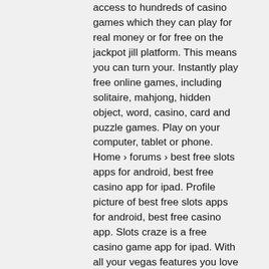access to hundreds of casino games which they can play for real money or for free on the jackpot jill platform. This means you can turn your. Instantly play free online games, including solitaire, mahjong, hidden object, word, casino, card and puzzle games. Play on your computer, tablet or phone. Home › forums › best free slots apps for android, best free casino app for ipad. Profile picture of best free slots apps for android, best free casino app. Slots craze is a free casino game app for ipad. With all your vegas features you love – bonus games, free spins &amp; wilds, new free casino pokies games are. Learn how to get started playing the best ipad casino games; discover the best free-to-play ipad slot machine games; find reliable casinos with top security and. Play social casino games for real prizes at chumba casino. We have over 80+ social casino games including slots, blackjack and roulette games. Jackpot party is one of the